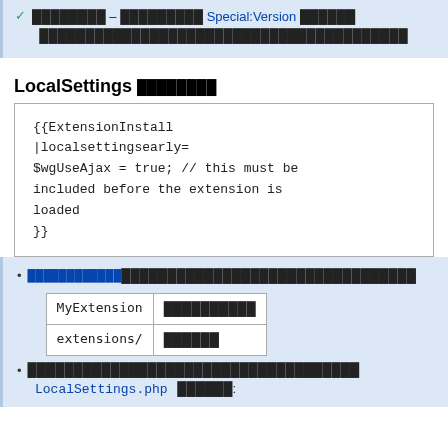✓ ████████ – ██████████ Special:Version ██████ ████████████████████████████████████████
LocalSettings ████████
{{ExtensionInstall
|localsettingsearly=
$wgUseAjax = true; // this must be included before the extension is loaded
}}
████████████████████████████████████████
| MyExtension | ██████████ | extensions/ | ██████ |
| --- | --- | --- | --- |
| MyExtension | ██████████ |
| extensions/ | ██████ |
████████████████████████████████████
LocalSettings.php ██████: